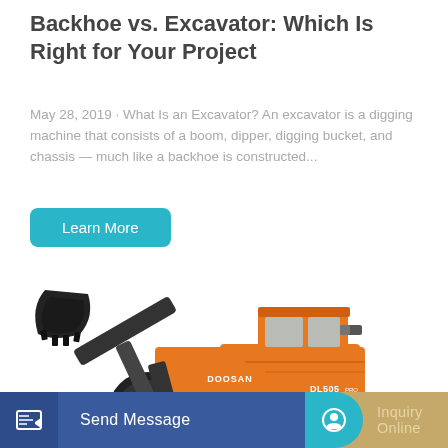Backhoe vs. Excavator: Which Is Right for Your Project
May 28, 2019 · What Is an Excavator? An excavator is a digging machine that consists of a boom, dipper, digging bucket, and chassis — much like a backhoe is constructed...
[Figure (illustration): Orange and black Doosan wheel loader (front loader / backhoe machine) with large front bucket raised, model DL503, on white background]
Send Message
Inquiry Online